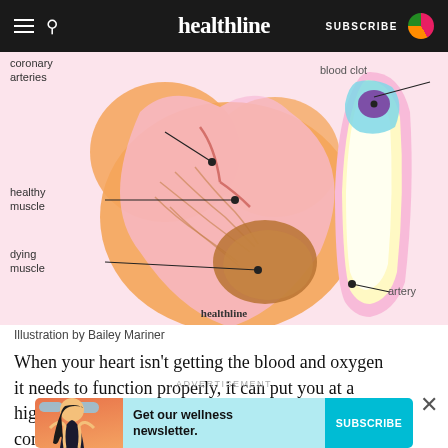healthline — SUBSCRIBE
[Figure (illustration): Medical illustration of a heart showing coronary arteries, healthy muscle, dying muscle labeled with pointer lines on left side; on right side a cross-section of an artery showing a blood clot and artery label, with healthline watermark at bottom.]
Illustration by Bailey Mariner
When your heart isn't getting the blood and oxygen it needs to function properly, it can put you at a higher risk of heart failure and other serious complications.
ADVERTISEMENT
[Figure (infographic): Advertisement banner: Get our wellness newsletter. SUBSCRIBE button.]